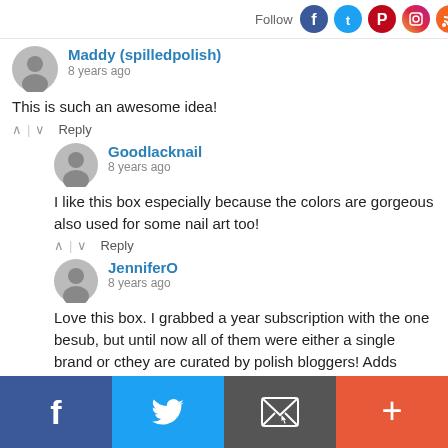Follow
Maddy (spilledpolish)
8 years ago
This is such an awesome idea!
↑ | ↓  Reply
Goodlacknail
8 years ago
I like this box especially because the colors are gorgeous also used for some nail art too!
↑ | ↓  Reply
JenniferO
8 years ago
Love this box. I grabbed a year subscription with the one be sub, but until now all of them were either a single brand or c they are curated by polish bloggers! Adds some personality
↑ | ↓  Reply
Ananka